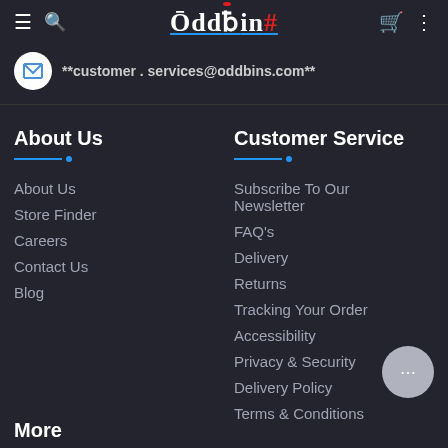Oddbins
**customer . services@oddbins.com**
About Us
About Us
Store Finder
Careers
Contact Us
Blog
Customer Service
Subscribe To Our Newsletter
FAQ's
Delivery
Returns
Tracking Your Order
Accessibility
Privacy & Security
Delivery Policy
Terms & Conditions
More